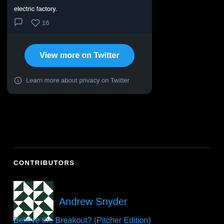electric factory.
[Figure (screenshot): Twitter embed widget showing tweet text 'electric factory.' with comment and heart (16 likes) icons, a 'View more on Twitter' blue button, and a privacy info link.]
View more on Twitter
Learn more about privacy on Twitter
CONTRIBUTORS
[Figure (photo): Avatar image with black and white geometric quilt pattern design]
Andrew Snyder
Believe the Breakout? (Pitcher Edition)